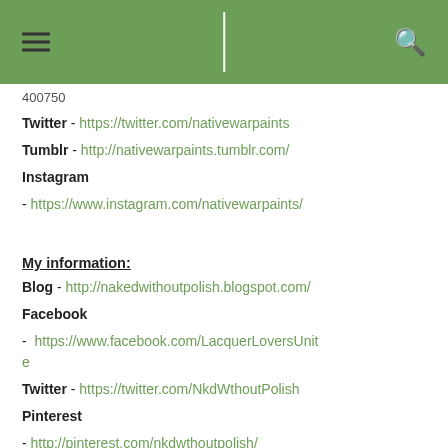☰  |  🔍
400750
Twitter - https://twitter.com/nativewarpaints
Tumblr - http://nativewarpaints.tumblr.com/
Instagram - https://www.instagram.com/nativewarpaints/
My information:
Blog - http://nakedwithoutpolish.blogspot.com/
Facebook - https://www.facebook.com/LacquerLoversUnite
Twitter - https://twitter.com/NkdWthoutPolish
Pinterest - http://pinterest.com/nkdwthoutpolish/
Instagram - http://instagram.com/nakedwithoutpolish/